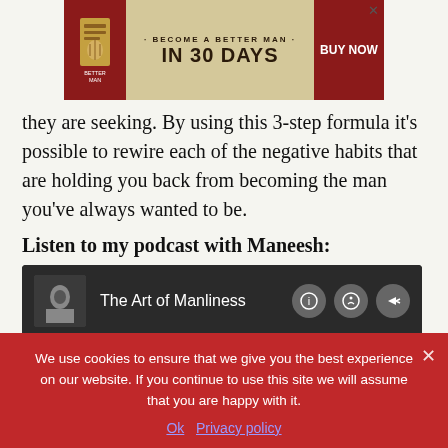[Figure (other): Advertisement banner: 'BECOME A BETTER MAN IN 30 DAYS' with BUY NOW button and book image, with close X]
they are seeking. By using this 3-step formula it's possible to rewire each of the negative habits that are holding you back from becoming the man you've always wanted to be.
Listen to my podcast with Maneesh:
[Figure (screenshot): Podcast player for 'The Art of Manliness' showing episode '#84: Shock Yourself Into New Habits w' with play button, time 00:00 / 38:46]
We use cookies to ensure that we give you the best experience on our website. If you continue to use this site we will assume that you are happy with it.
Ok   Privacy policy